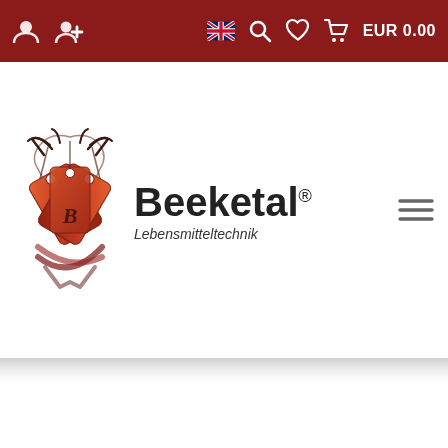[Figure (screenshot): Navigation bar for Beeketal Lebensmitteltechnik e-commerce website. Dark red top bar with user icon, add-user icon, UK flag, search icon, wishlist icon, cart icon, and EUR 0.00 text. Below is white area with Beeketal logo (tag-shaped graphic with B initial) and Lebensmitteltechnik tagline, plus hamburger menu icon on right.]